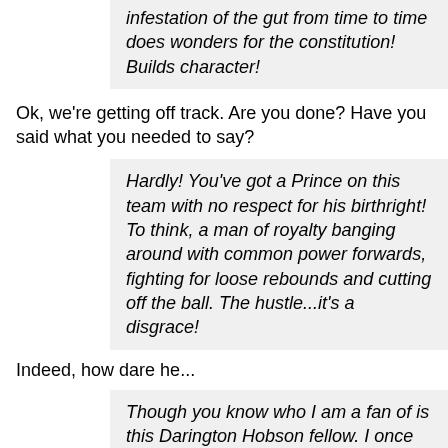infestation of the gut from time to time does wonders for the constitution! Builds character!
Ok, we're getting off track. Are you done? Have you said what you needed to say?
Hardly! You've got a Prince on this team with no respect for his birthright! To think, a man of royalty banging around with common power forwards, fighting for loose rebounds and cutting off the ball. The hustle...it's a disgrace!
Indeed, how dare he...
Though you know who I am a fan of is this Darington Hobson fellow. I once had a butler named Hobson and a cousin named Darington. Both charming fellows. I assume Hobson is going to be a featured player this season?
Actually, he'll probably be a rotational wing at most